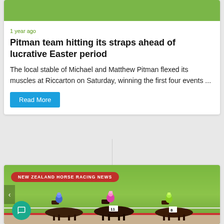[Figure (photo): Partial green grass/field photo at top of card]
1 year ago
Pitman team hitting its straps ahead of lucrative Easter period
The local stable of Michael and Matthew Pitman flexed its muscles at Riccarton on Saturday, winning the first four events ...
Read More
[Figure (photo): New Zealand horse racing news photo showing jockeys racing horses on a track, with a red banner reading NEW ZEALAND HORSE RACING NEWS]